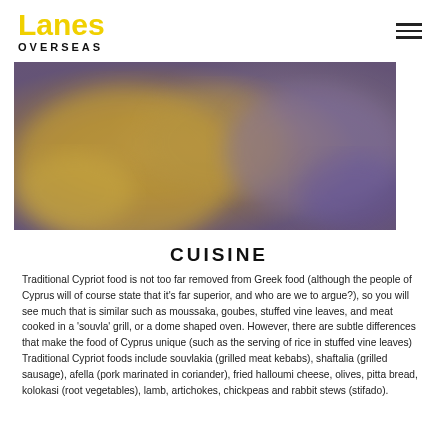Lanes OVERSEAS
[Figure (photo): Blurred overhead food photograph with warm golden and purple tones, likely showing Cypriot cuisine dishes on a table.]
CUISINE
Traditional Cypriot food is not too far removed from Greek food (although the people of Cyprus will of course state that it's far superior, and who are we to argue?), so you will see much that is similar such as moussaka, goubes, stuffed vine leaves, and meat cooked in a 'souvla' grill, or a dome shaped oven. However, there are subtle differences that make the food of Cyprus unique (such as the serving of rice in stuffed vine leaves)
Traditional Cypriot foods include souvlakia (grilled meat kebabs), shaftalia (grilled sausage), afella (pork marinated in coriander), fried halloumi cheese, olives, pitta bread, kolokasi (root vegetables), lamb, artichokes, chickpeas and rabbit stews (stifado).